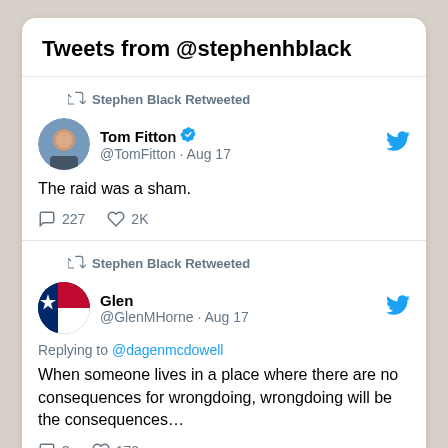Tweets from @stephenhblack
Stephen Black Retweeted
Tom Fitton @TomFitton · Aug 17
The raid was a sham.
227 2K
Stephen Black Retweeted
Glen @GlenMHorne · Aug 17
Replying to @dagenmcdowell
When someone lives in a place where there are no consequences for wrongdoing, wrongdoing will be the consequences…
3 170